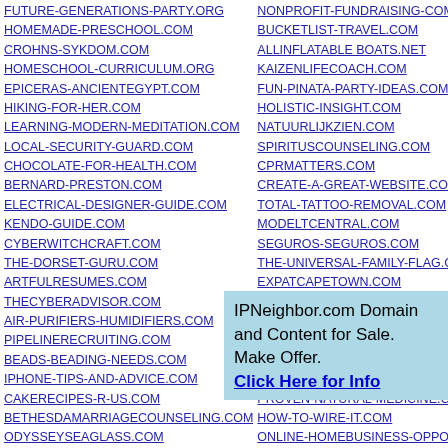FUTURE-GENERATIONS-PARTY.ORG
HOMEMADE-PRESCHOOL.COM
CROHNS-SYKDOM.COM
HOMESCHOOL-CURRICULUM.ORG
EPICERAS-ANCIENTEGYPT.COM
HIKING-FOR-HER.COM
LEARNING-MODERN-MEDITATION.COM
LOCAL-SECURITY-GUARD.COM
CHOCOLATE-FOR-HEALTH.COM
BERNARD-PRESTON.COM
ELECTRICAL-DESIGNER-GUIDE.COM
KENDO-GUIDE.COM
CYBERWITCHCRAFT.COM
THE-DORSET-GURU.COM
ARTFULRESUMES.COM
THECYBERADVISOR.COM
AIR-PURIFIERS-HUMIDIFIERS.COM
PIPELINERECRUITING.COM
BEADS-BEADING-NEEDS.COM
IPHONE-TIPS-AND-ADVICE.COM
CAKERECIPES-R-US.COM
BETHESDAMARRIAGECOUNSELING.COM
ODYSSEYSEAGLASS.COM
LEARNSPANISHBETTER.COM
BOLCOUNSELLING.COM
BLACK-WOMEN-BEAUTY-CENTRAL.COM
NORTH-FLORIDA-GARDEN-GUIDE.COM
ATUSCHOOL.COM
SOFTWARE-MARKETING-ADVISOR.COM
NONPROFIT-FUNDRAISING-COMM...
BUCKETLIST-TRAVEL.COM
ALLINFLATABLE BOATS.NET
KAIZENLIFECOACH.COM
FUN-PINATA-PARTY-IDEAS.COM
HOLISTIC-INSIGHT.COM
NATUURLIJKZIEN.COM
SPIRITUSCOUNSELING.COM
CPRMATTERS.COM
CREATE-A-GREAT-WEBSITE.COM
TOTAL-TATTOO-REMOVAL.COM
MODELTCENTRAL.COM
SEGUROS-SEGUROS.COM
THE-UNIVERSAL-FAMILY-FLAG.COM
EXPATCAPETOWN.COM
EXPERT-MOBILE-CAR-DETAILING.COM
MAKE-YOUR-OWN-INVITATIONS.COM
GOLF-SHORT-GAME-GUIDE.COM
BEST-KIDS-BOOKS.COM
UNCLE-DANS-TRAVEL-SECRETS.COM
PROVEN-NATURAL-MEDICINE.COM
HOW-TO-WIRE-IT.COM
ONLINE-HOMEBUSINESS-OPPORT...
PAPERCRAFTCENTRAL.COM
IPNeighbor.com Domain and Content for Sale. Make Offer. Click Here for Info